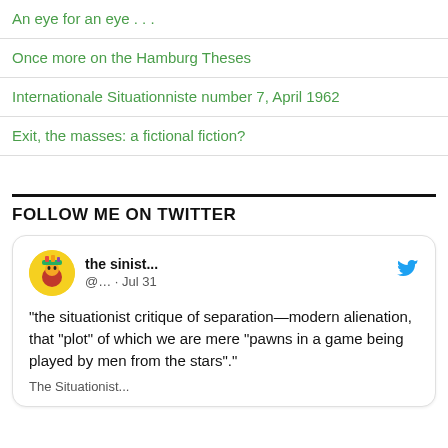An eye for an eye . . .
Once more on the Hamburg Theses
Internationale Situationniste number 7, April 1962
Exit, the masses: a fictional fiction?
FOLLOW ME ON TWITTER
[Figure (screenshot): Embedded tweet card from 'the sinist...' (@...) dated Jul 31, with Twitter bird icon. Tweet text: "the situationist critique of separation—modern alienation, that “plot” of which we are mere “pawns in a game being played by men from the stars”." Followed by partial text 'The Situationist...']